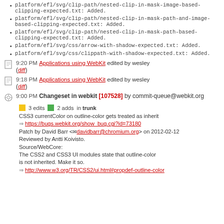platform/efl/svg/clip-path/nested-clip-in-mask-image-based-clipping-expected.txt: Added.
platform/efl/svg/clip-path/nested-clip-in-mask-path-and-image-based-clipping-expected.txt: Added.
platform/efl/svg/clip-path/nested-clip-in-mask-path-based-clipping-expected.txt: Added.
platform/efl/svg/css/arrow-with-shadow-expected.txt: Added.
platform/efl/svg/css/clippath-with-shadow-expected.txt: Added.
9:20 PM Applications using WebKit edited by wesley (diff)
9:18 PM Applications using WebKit edited by wesley (diff)
9:00 PM Changeset in webkit [107528] by commit-queue@webkit.org
3 edits  2 adds  in trunk
CSS3 currentColor on outline-color gets treated as inherit
https://bugs.webkit.org/show_bug.cgi?id=73180
Patch by David Barr <davidbarr@chromium.org> on 2012-02-12
Reviewed by Antti Koivisto.
Source/WebCore:
The CSS2 and CSS3 UI modules state that outline-color is not inherited. Make it so.
http://www.w3.org/TR/CSS2/ui.html#propdef-outline-color